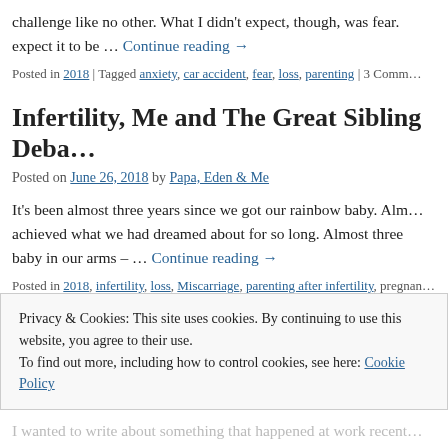challenge like no other. What I didn't expect, though, was fear. expect it to be … Continue reading →
Posted in 2018 | Tagged anxiety, car accident, fear, loss, parenting | 3 Comm…
Infertility, Me and The Great Sibling Deba…
Posted on June 26, 2018 by Papa, Eden & Me
It's been almost three years since we got our rainbow baby. Alm… achieved what we had dreamed about for so long. Almost three baby in our arms – … Continue reading →
Posted in 2018, infertility, loss, Miscarriage, parenting after infertility, pregnan… pregnancy loss | Tagged eden, infertility, loss, pregnancy, sibling, trying to co…
Privacy & Cookies: This site uses cookies. By continuing to use this website, you agree to their use.
To find out more, including how to control cookies, see here: Cookie Policy
Close and accept
I wanted to write about something that happened at work recent…